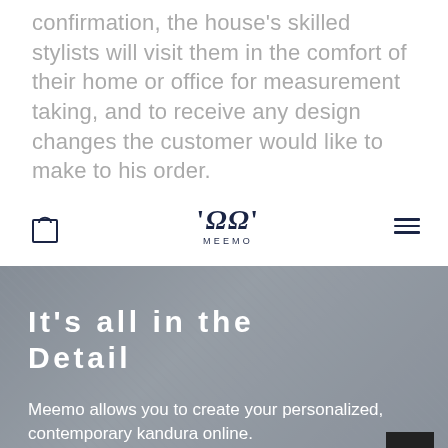confirmation, the house's skilled stylists will visit them in the comfort of their home or office for measurement taking, and to receive any design changes the customer would like to make to his order.
[Figure (screenshot): Website navigation bar with shopping bag icon on left, 'MEEMO' logo in center (stylized with quotation marks), and hamburger menu icon on right]
[Figure (photo): Hero image section with blurred fabric/textile background in grey tones, showing bold white text 'It's all in the Detail' and body text 'Meemo allows you to create your personalized, contemporary kandura online.' with a dark back-to-top arrow button in bottom right corner]